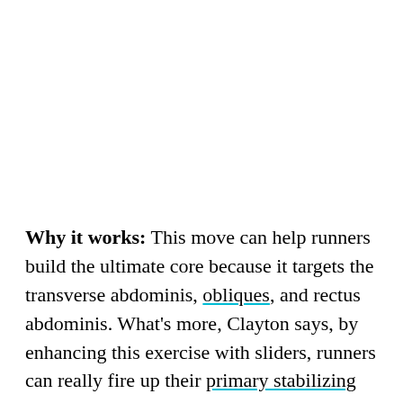Why it works: This move can help runners build the ultimate core because it targets the transverse abdominis, obliques, and rectus abdominis. What's more, Clayton says, by enhancing this exercise with sliders, runners can really fire up their primary stabilizing muscles and strength their lower abs.